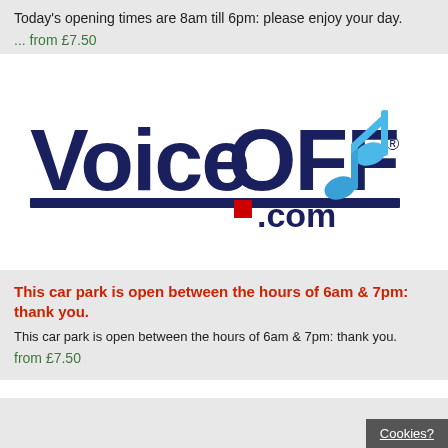Today's opening times are 8am till 6pm: please enjoy your day.
... from £7.50
[Figure (logo): VoiceOFF.com logo with music note icon — dark navy bold text 'VoiceOFF' with registered mark, red square before '.com', blue musical note to the right]
This car park is open between the hours of 6am & 7pm: thank you.
This car park is open between the hours of 6am & 7pm: thank you.
from £7.50